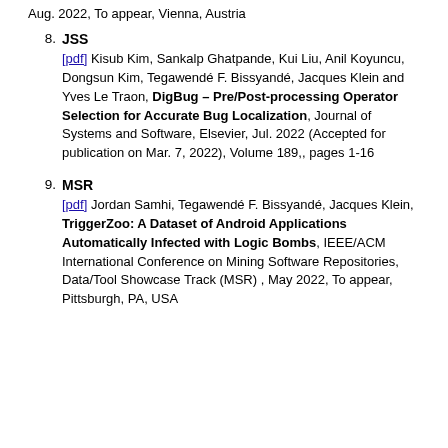Aug. 2022, To appear, Vienna, Austria
8. JSS [pdf] Kisub Kim, Sankalp Ghatpande, Kui Liu, Anil Koyuncu, Dongsun Kim, Tegawendé F. Bissyandé, Jacques Klein and Yves Le Traon, DigBug – Pre/Post-processing Operator Selection for Accurate Bug Localization, Journal of Systems and Software, Elsevier, Jul. 2022 (Accepted for publication on Mar. 7, 2022), Volume 189,, pages 1-16
9. MSR [pdf] Jordan Samhi, Tegawendé F. Bissyandé, Jacques Klein, TriggerZoo: A Dataset of Android Applications Automatically Infected with Logic Bombs, IEEE/ACM International Conference on Mining Software Repositories, Data/Tool Showcase Track (MSR) , May 2022, To appear, Pittsburgh, PA, USA